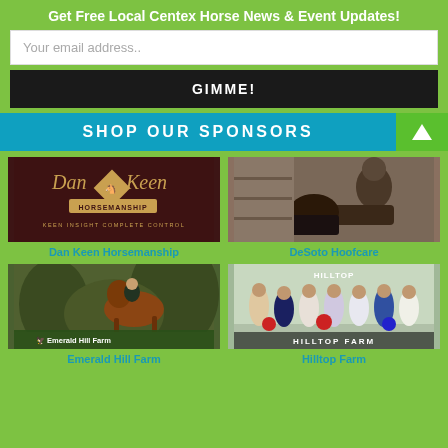Get Free Local Centex Horse News & Event Updates!
Your email address..
GIMME!
SHOP OUR SPONSORS
[Figure (logo): Dan Keen Horsemanship logo - dark red background with gold diamond and italic script text, tagline KEEN INSIGHT COMPLETE CONTROL]
Dan Keen Horsemanship
[Figure (photo): Photo of a person working on a horse's hoof - DeSoto Hoofcare sponsor]
DeSoto Hoofcare
[Figure (photo): Rider on horseback jumping outdoors - Emerald Hill Farm sponsor with logo overlay]
Emerald Hill Farm
[Figure (photo): Group photo of people holding ribbons/awards indoors - Hilltop Farm sponsor]
Hilltop Farm